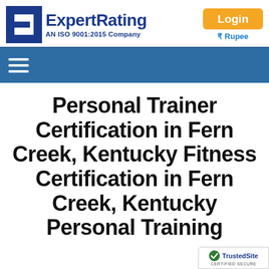[Figure (logo): ExpertRating logo: stylized 'E' icon in blue with 'ExpertRating' text in bold dark blue and subtitle 'AN ISO 9001:2015 Company']
Login
₹ Rupee
[Figure (other): Navigation bar with hamburger menu icon (three horizontal lines) on dark blue background]
Personal Trainer Certification in Fern Creek, Kentucky Fitness Certification in Fern Creek, Kentucky Personal Training
[Figure (logo): TrustedSite badge with checkmark icon, 'TrustedSite' text, and 'CERTIFIED SECURE' label]